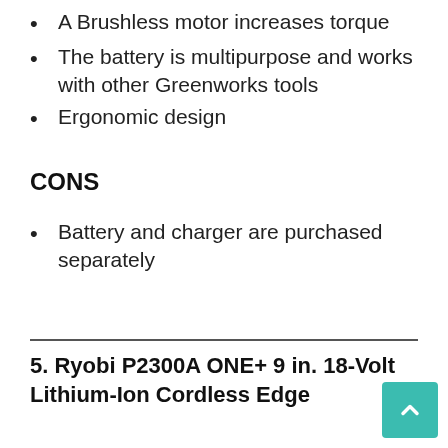A Brushless motor increases torque
The battery is multipurpose and works with other Greenworks tools
Ergonomic design
CONS
Battery and charger are purchased separately
5. Ryobi P2300A ONE+ 9 in. 18-Volt Lithium-Ion Cordless Edge